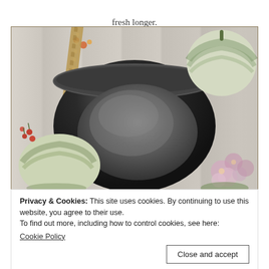fresh longer.
[Figure (photo): A dark metal bucket/bowl with a braided rope handle, surrounded by striped green-and-white squash/gourds, small red berries, and pink hydrangea flowers, photographed on weathered grey wood planks.]
Privacy & Cookies: This site uses cookies. By continuing to use this website, you agree to their use.
To find out more, including how to control cookies, see here:
Cookie Policy
Close and accept